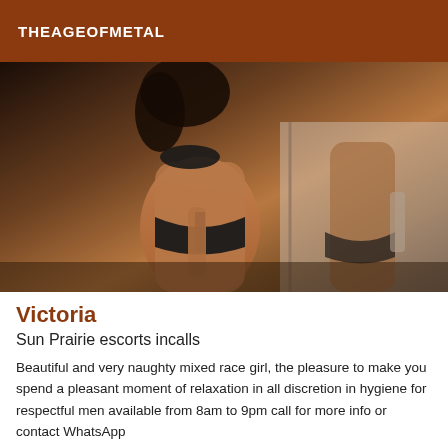THEAGEOFMETAL
[Figure (photo): Photo of a woman in black bikini posing in front of a mirror, showing back and reflection]
Victoria
Sun Prairie escorts incalls
Beautiful and very naughty mixed race girl, the pleasure to make you spend a pleasant moment of relaxation in all discretion in hygiene for respectful men available from 8am to 9pm call for more info or contact WhatsApp